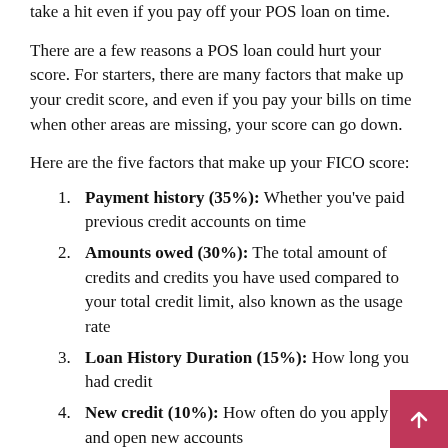take a hit even if you pay off your POS loan on time.
There are a few reasons a POS loan could hurt your score. For starters, there are many factors that make up your credit score, and even if you pay your bills on time when other areas are missing, your score can go down.
Here are the five factors that make up your FICO score:
Payment history (35%): Whether you've paid previous credit accounts on time
Amounts owed (30%): The total amount of credits and credits you have used compared to your total credit limit, also known as the usage rate
Loan History Duration (15%): How long you had credit
New credit (10%): How often do you apply for and open new accounts
Credit mix (10%): The variety of loan products you have including credit cards, installment loans, financial company accounts, mortgage loans and so on